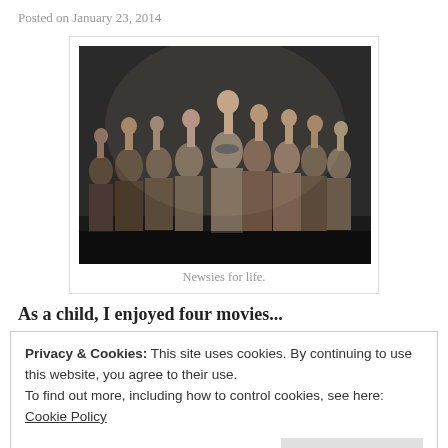Posted on January 23, 2014
[Figure (photo): Stage performance photo showing a group of young men in period costumes (newsboys) with fists raised in the air, from the Broadway musical Newsies.]
Newsies for life.
As a child, I enjoyed four movies...
Privacy & Cookies: This site uses cookies. By continuing to use this website, you agree to their use.
To find out more, including how to control cookies, see here: Cookie Policy
Close and accept